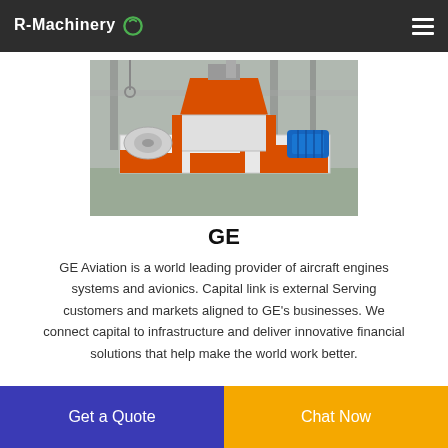R-Machinery
[Figure (photo): Industrial shredder/twin-shaft machine with orange frame, white body, and blue motor, in a factory setting]
GE
GE Aviation is a world leading provider of aircraft engines systems and avionics. Capital link is external Serving customers and markets aligned to GE's businesses. We connect capital to infrastructure and deliver innovative financial solutions that help make the world work better.